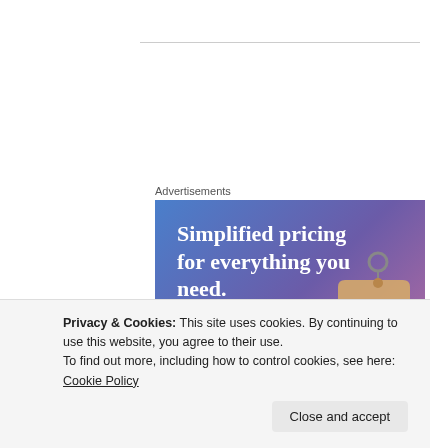Advertisements
[Figure (illustration): Advertisement banner with gradient blue-purple-pink background showing text 'Simplified pricing for everything you need.' with a pink 'Build Your Website' button and a 3D price tag image on the right]
Privacy & Cookies: This site uses cookies. By continuing to use this website, you agree to their use.
To find out more, including how to control cookies, see here: Cookie Policy
Close and accept